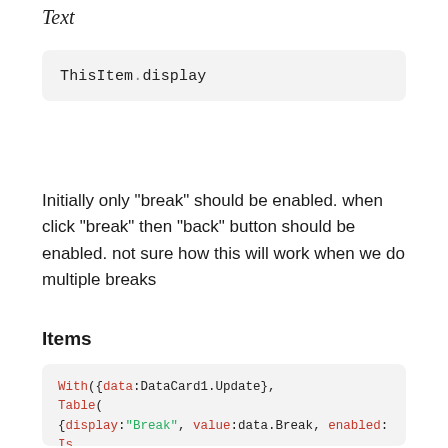Text
ThisItem.display
Initially only "break" should be enabled. when click "break" then "back" button should be enabled. not sure how this will work when we do multiple breaks
Items
With({data:DataCard1.Update},
Table(
{display:"Break", value:data.Break, enabled: IsBlank(data.Back) && IsBlank(data.Break) || !IsBlank(data.Back) },